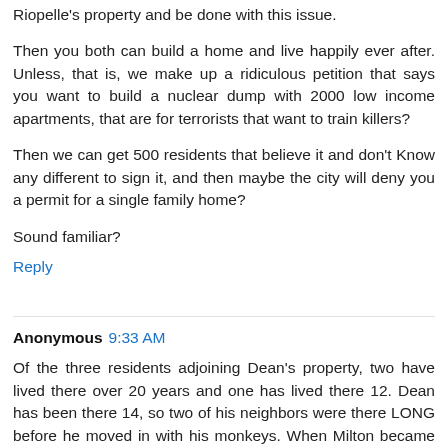Riopelle's property and be done with this issue.
Then you both can build a home and live happily ever after. Unless, that is, we make up a ridiculous petition that says you want to build a nuclear dump with 2000 low income apartments, that are for terrorists that want to train killers?
Then we can get 500 residents that believe it and don't Know any different to sign it, and then maybe the city will deny you a permit for a single family home?
Sound familiar?
Reply
Anonymous 9:33 AM
Of the three residents adjoining Dean's property, two have lived there over 20 years and one has lived there 12. Dean has been there 14, so two of his neighbors were there LONG before he moved in with his monkeys. When Milton became a city in 2006, Dean had 11 monkeys. He now has